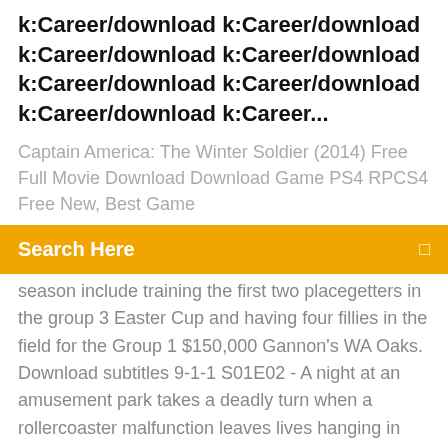k:Career/download k:Career/download k:Career/download k:Career/download k:Career/download k:Career/download k:Career/download k:Career...
Captain America: The Winter Soldier (2014) Free Full Movie Download Download Game PS4 RPCS4 Free New, Best Game
Search Here
season include training the first two placegetters in the group 3 Easter Cup and having four fillies in the field for the Group 1 $150,000 Gannon's WA Oaks. Download subtitles 9-1-1 S01E02 - A night at an amusement park takes a deadly turn when a rollercoaster malfunction leaves lives hanging in the balance. 9-1-1 S01E02. His 818 runs for an Australian home season was higher than Bradman s best of 810 in (although Warner played six Tests but Bradman never played more than five). All the games is only for pc, xbox 360, xbox one, ps3 and ps4. It is possible to download games torrents without any registration -